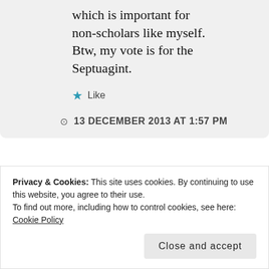which is important for non-scholars like myself. Btw, my vote is for the Septuagint.
Like
13 DECEMBER 2013 AT 1:57 PM
[Figure (illustration): Gradient image with blue and purple tones, with a small tan/beige book or box icon in the upper center area.]
Privacy & Cookies: This site uses cookies. By continuing to use this website, you agree to their use. To find out more, including how to control cookies, see here: Cookie Policy
Close and accept